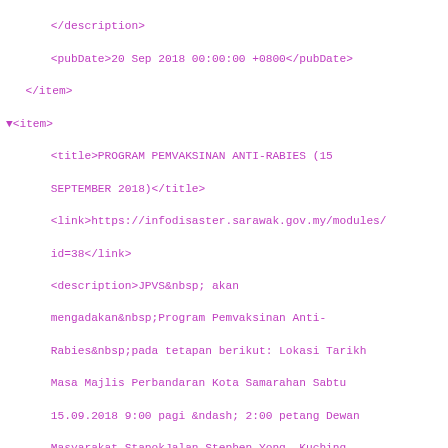</description>
<pubDate>20 Sep 2018 00:00:00 +0800</pubDate>
</item>
▼<item>
  <title>PROGRAM PEMVAKSINAN ANTI-RABIES (15 SEPTEMBER 2018)</title>
  <link>https://infodisaster.sarawak.gov.my/modules/id=38</link>
  <description>JPVS&nbsp; akan mengadakan&nbsp;Program Pemvaksinan Anti-Rabies&nbsp;pada tetapan berikut: Lokasi Tarikh Masa Majlis Perbandaran Kota Samarahan Sabtu 15.09.2018 9:00 pagi &ndash; 2:00 petang Dewan Masyarakat StapokJalan Stephen Yong, Kuching Sabtu 15.09.2018 9:00 pagi &ndash; 2:00 petang </description>
  <pubDate>11 Sep 2018 00:00:00 +0800</pubDate>
</item>
▼<item>
  <title>PROGRAM PEMVAKSINAN ANTI-RABIES (8 SEPTEMBER 2018)</title>
  <link>https://infodisaster.sarawak.gov.my/modules/id=37</link>
  <description>JPVS&nbsp; akan mengadakan&nbsp;Program Pemvaksinan Anti-Rabies&nbsp;pada tetapan berikut: Lokasi Tarikh Masa Metrocity Matang (Behind Golden Dragon City) Sabtu 08.09.2018 9:00 pagi &ndash; 2:00 petang </description>
  <pubDate>04 Sep 2018 00:00:00 +0800</pubDate>
</item>